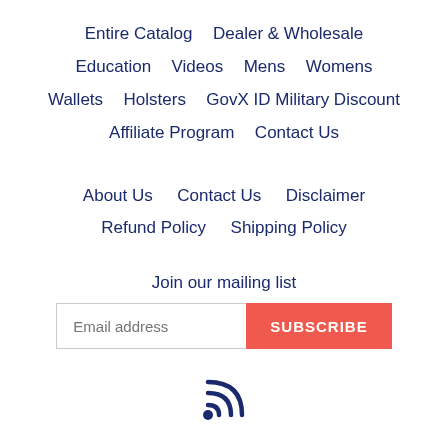Entire Catalog   Dealer & Wholesale
Education   Videos   Mens   Womens
Wallets   Holsters   GovX ID Military Discount
Affiliate Program   Contact Us
About Us   Contact Us   Disclaimer
Refund Policy   Shipping Policy
Join our mailing list
Email address   SUBSCRIBE
[Figure (illustration): RSS feed icon (wifi-style signal arcs) in dark navy blue]